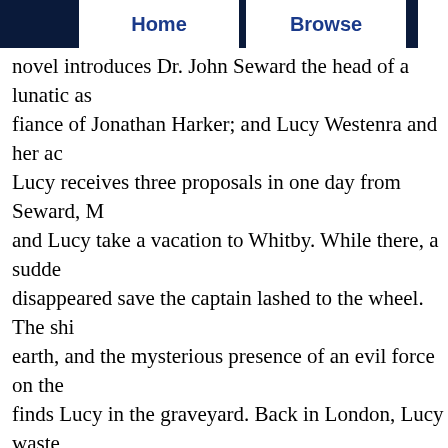Home   Browse
novel introduces Dr. John Seward the head of a lunatic as fiance of Jonathan Harker; and Lucy Westenra and her ac Lucy receives three proposals in one day from Seward, M and Lucy take a vacation to Whitby. While there, a sudde disappeared save the captain lashed to the wheel. The shi earth, and the mysterious presence of an evil force on the finds Lucy in the graveyard. Back in London, Lucy waste consult on the case. Van Helsing immediately deduces th of blood transfusions (in turn, Seward, Van Helsing, Mor newspapers report a "bloofer lady" attacking children. Se Helsing explains to the men that Lucy is un-dead, a vamp off her head, and re-seal her tomb. Meantime, Mina hears nurses him, and marries him. Jonathan entrusts his journa couple joins Van Helsing and the others to destroy Dracu for his rest) at his estate, a house in Pall Mall, and two lo begins to transform into a vampire. Thwarted, Dracula fle sunset in sight of his castle. Harker and Morris kill Dracu curse. (TJB)
Title Tags: